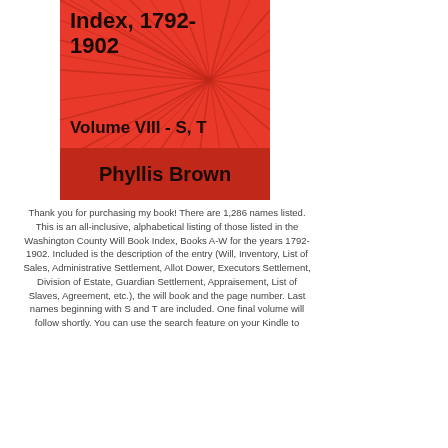[Figure (illustration): Book cover with red background and starburst pattern. Title text reads 'Index, 1792-1902 Volume VIII - S, T' and author 'Phyllis Brown' at the bottom in a darker red bar.]
Thank you for purchasing my book! There are 1,286 names listed. This is an all-inclusive, alphabetical listing of those listed in the Washington County Will Book Index, Books A-W for the years 1792-1902. Included is the description of the entry (Will, Inventory, List of Sales, Administrative Settlement, Allot Dower, Executors Settlement, Division of Estate, Guardian Settlement, Appraisement, List of Slaves, Agreement, etc.), the will book and the page number. Last names beginning with S and T are included. One final volume will follow shortly. You can use the search feature on your Kindle to